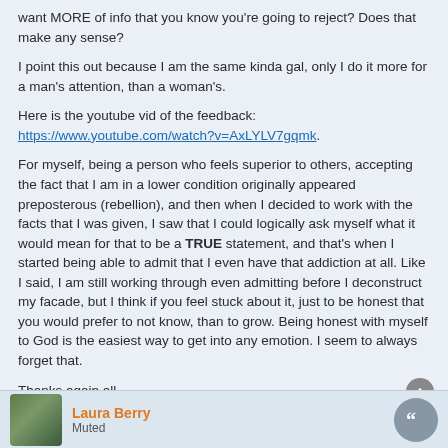want MORE of info that you know you're going to reject? Does that make any sense?
I point this out because I am the same kinda gal, only I do it more for a man's attention, than a woman's.
Here is the youtube vid of the feedback: https://www.youtube.com/watch?v=AxLYLV7gqmk.
For myself, being a person who feels superior to others, accepting the fact that I am in a lower condition originally appeared preposterous (rebellion), and then when I decided to work with the facts that I was given, I saw that I could logically ask myself what it would mean for that to be a TRUE statement, and that's when I started being able to admit that I even have that addiction at all. Like I said, I am still working through even admitting before I deconstruct my facade, but I think if you feel stuck about it, just to be honest that you would prefer to not know, than to grow. Being honest with myself to God is the easiest way to get into any emotion. I seem to always forget that.
Thanks again all.
Laura Berry
Muted